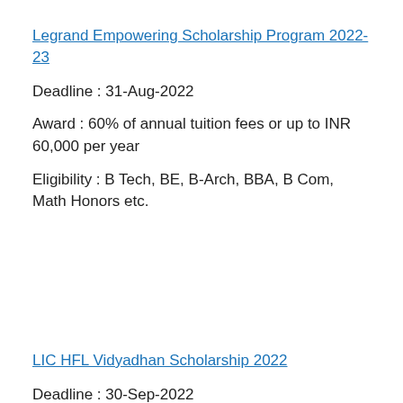Legrand Empowering Scholarship Program 2022-23
Deadline : 31-Aug-2022
Award : 60% of annual tuition fees or up to INR 60,000 per year
Eligibility : B Tech, BE, B-Arch, BBA, B Com, Math Honors etc.
LIC HFL Vidyadhan Scholarship 2022
Deadline : 30-Sep-2022